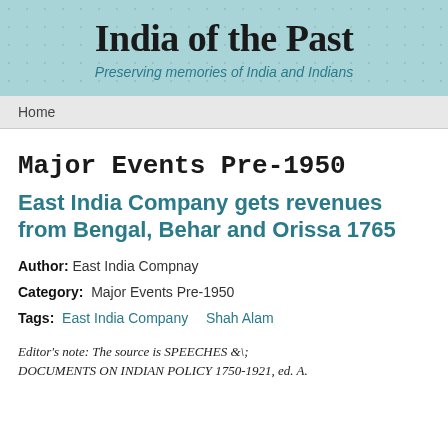India of the Past
Preserving memories of India and Indians
Home
Major Events Pre-1950
East India Company gets revenues from Bengal, Behar and Orissa 1765
Author: East India Compnay
Category: Major Events Pre-1950
Tags: East India Company  Shah Alam
Editor's note: The source is SPEECHES &amp; DOCUMENTS ON INDIAN POLICY 1750-1921, ed. A.